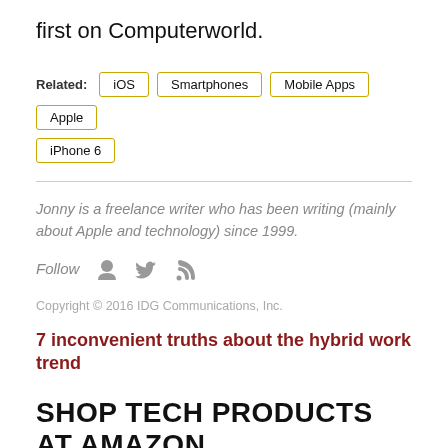first on Computerworld.
Related: iOS  Smartphones  Mobile Apps  Apple  iPhone 6
Jonny is a freelance writer who has been writing (mainly about Apple and technology) since 1999.
Follow
Copyright © 2016 IDG Communications, Inc.
7 inconvenient truths about the hybrid work trend
SHOP TECH PRODUCTS AT AMAZON